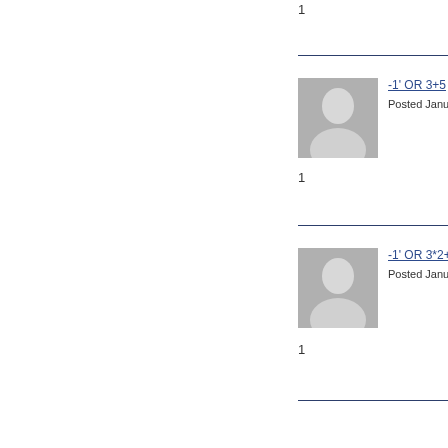1
[Figure (photo): Default user avatar placeholder image - silhouette of a person on grey background]
-1' OR 3+5
Posted Janua
1
[Figure (photo): Default user avatar placeholder image - silhouette of a person on grey background]
-1' OR 3*2+
Posted Janua
1